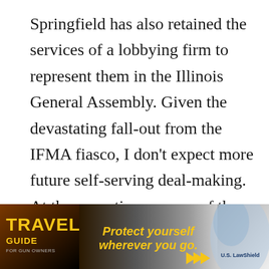Springfield has also retained the services of a lobbying firm to represent them in the Illinois General Assembly. Given the devastating fall-out from the IFMA fiasco, I don't expect more future self-serving deal-making. At the same time, as one of the people lobbying in the capitol, I'll keep an eye on them. As Smith & Wesson and Ruger before them have found, it will take a lot for Springfield Armory to regain gun owners' trust.
But there's been some other negative fallout
[Figure (infographic): Advertisement banner for 'Travel Guide for Gun Owners' featuring U.S. LawShield. Dark background with yellow text reading 'Protect yourself wherever you go.' with yellow arrow graphics.]